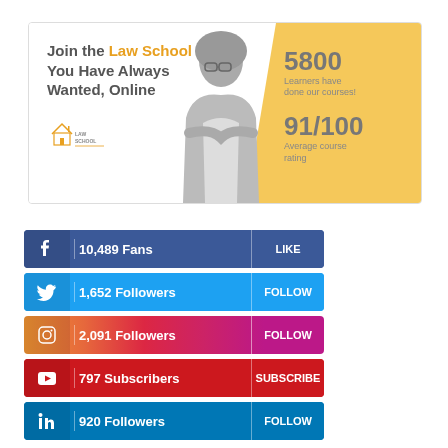[Figure (infographic): Law School advertisement banner: text 'Join the Law School You Have Always Wanted, Online' with Law School logo on the left, a greyscale photo of a woman in business attire in center, and golden/yellow background on right with stats: 5800 Learners have done our courses!, 91/100 Average course rating]
[Figure (infographic): Social media follower count buttons: Facebook 10,489 Fans LIKE (dark blue), Twitter 1,652 Followers FOLLOW (light blue), Instagram 2,091 Followers FOLLOW (gradient orange-pink-purple), YouTube 797 Subscribers SUBSCRIBE (red), LinkedIn 920 Followers FOLLOW (blue)]